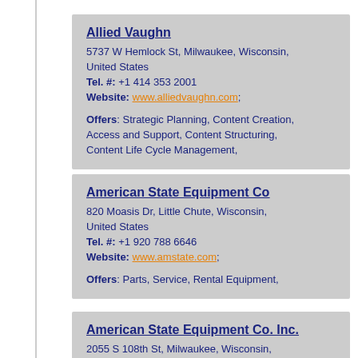Allied Vaughn
5737 W Hemlock St, Milwaukee, Wisconsin, United States
Tel. #: +1 414 353 2001
Website: www.alliedvaughn.com;
Offers: Strategic Planning, Content Creation, Access and Support, Content Structuring, Content Life Cycle Management,
American State Equipment Co
820 Moasis Dr, Little Chute, Wisconsin, United States
Tel. #: +1 920 788 6646
Website: www.amstate.com;
Offers: Parts, Service, Rental Equipment,
American State Equipment Co. Inc.
2055 S 108th St, Milwaukee, Wisconsin, United States
Tel. #: +1 414 541 8700